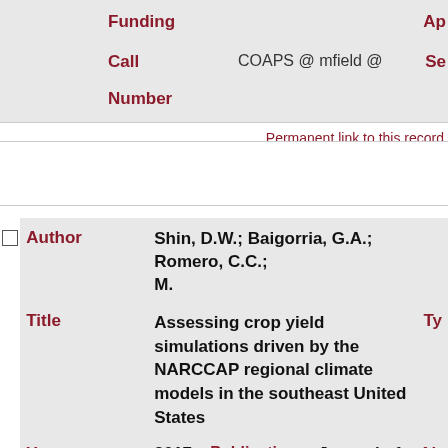| Field | Value | Extra |
| --- | --- | --- |
| Funding |  | Ap... |
| Call Number | COAPS @ mfield @ | Se... |
Permanent link to this record
| Field | Value |
| --- | --- |
| Author | Shin, D.W.; Baigorria, G.A.; Romero, C.C.; M. |
| Title | Assessing crop yield simulations driven by the NARCCAP regional climate models in the southeast United States |
| Year | 2017 |
| Publication | Journal of Geophysical ... |
| Ab... | Jo... |